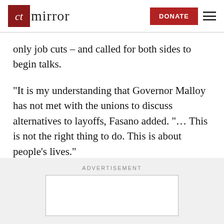the ct mirror — DONATE
only job cuts – and called for both sides to begin talks.
“It is my understanding that Governor Malloy has not met with the unions to discuss alternatives to layoffs, Fasano added. “… This is not the right thing to do. This is about people’s lives.”
ADVERTISEMENT